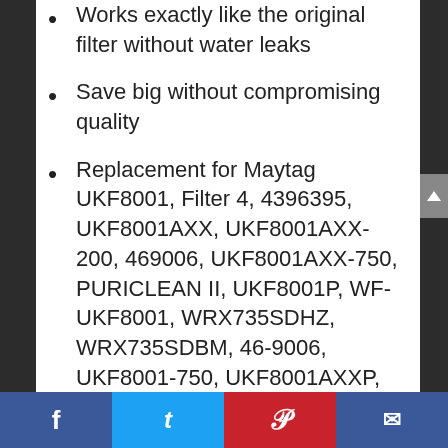Works exactly like the original filter without water leaks
Save big without compromising quality
Replacement for Maytag UKF8001, Filter 4, 4396395, UKF8001AXX, UKF8001AXX-200, 469006, UKF8001AXX-750, PURICLEAN II, UKF8001P, WF-UKF8001, WRX735SDHZ, WRX735SDBM, 46-9006, UKF8001-750, UKF8001AXXP, 67002269, 67002671, 67003523, 67003526, 67003527, 67003528, 67003591, 67003727, 67006474, 67006637, 12589201, 12589203,
Facebook | Twitter | Pinterest | Email